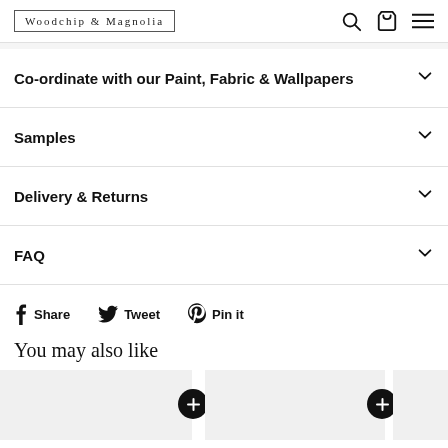Woodchip & Magnolia
Co-ordinate with our Paint, Fabric & Wallpapers
Samples
Delivery & Returns
FAQ
Share  Tweet  Pin it
You may also like
[Figure (screenshot): Two product thumbnail images with plus buttons, partially visible third thumbnail]